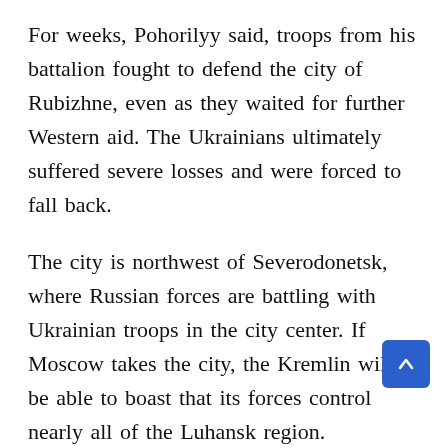For weeks, Pohorilyy said, troops from his battalion fought to defend the city of Rubizhne, even as they waited for further Western aid. The Ukrainians ultimately suffered severe losses and were forced to fall back.
The city is northwest of Severodonetsk, where Russian forces are battling with Ukrainian troops in the city center. If Moscow takes the city, the Kremlin will be able to boast that its forces control nearly all of the Luhansk region.
“We need help,” Pohorilyy said. “If it